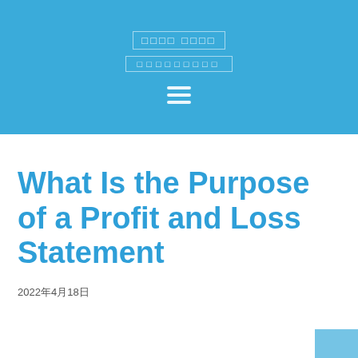□□□□ □□□□ □□□□□□□□□
What Is the Purpose of a Profit and Loss Statement
2022年4月18日